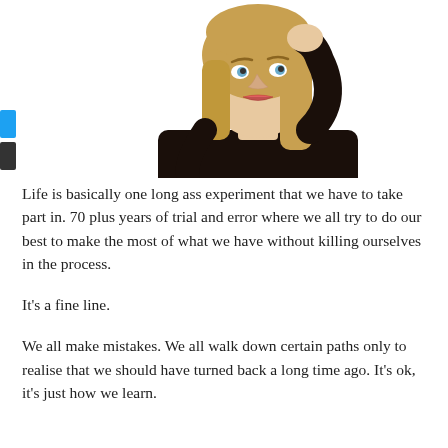[Figure (photo): A blonde woman in a black long-sleeve top with her right hand raised to her head, looking upward to the side with a thoughtful or confused expression, against a white background.]
Life is basically one long ass experiment that we have to take part in. 70 plus years of trial and error where we all try to do our best to make the most of what we have without killing ourselves in the process.
It's a fine line.
We all make mistakes. We all walk down certain paths only to realise that we should have turned back a long time ago. It's ok, it's just how we learn.